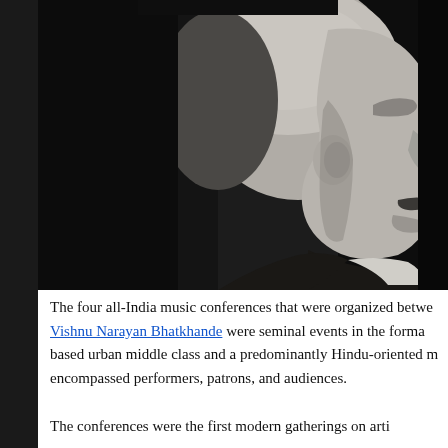[Figure (photo): Black and white profile photograph of Vishnu Narayan Bhatkhande, an elderly man shown from the side/profile view, bald head, mustache, wearing a dark jacket with white collar visible.]
The four all-India music conferences that were organized between [dates] by Vishnu Narayan Bhatkhande were seminal events in the formation of a north Indian music-based urban middle class and a predominantly Hindu-oriented milieu that encompassed performers, patrons, and audiences.
The conferences were the first modern gatherings on artistic...